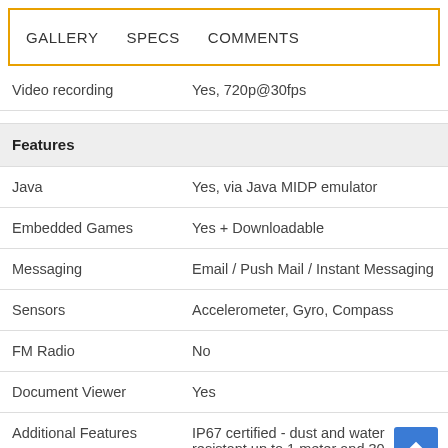GALLERY  SPECS  COMMENTS
| Feature | Value |
| --- | --- |
| Video recording | Yes, 720p@30fps |
| Features |  |
| Java | Yes, via Java MIDP emulator |
| Embedded Games | Yes + Downloadable |
| Messaging | Email / Push Mail / Instant Messaging |
| Sensors | Accelerometer, Gyro, Compass |
| FM Radio | No |
| Document Viewer | Yes |
| Additional Features | IP67 certified - dust and water resistant up to 1 meter and 30 minutes, Shock protection up to 1.2 meters drop (via |